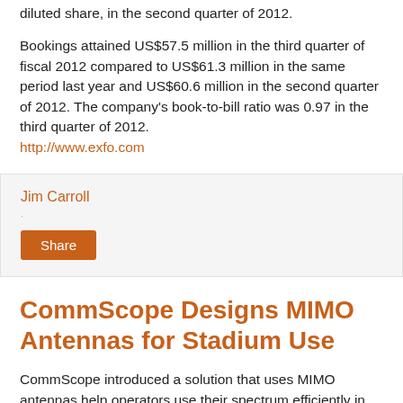diluted share, in the second quarter of 2012.
Bookings attained US$57.5 million in the third quarter of fiscal 2012 compared to US$61.3 million in the same period last year and US$60.6 million in the second quarter of 2012. The company's book-to-bill ratio was 0.97 in the third quarter of 2012.
http://www.exfo.com
Jim Carroll
Share
CommScope Designs MIMO Antennas for Stadium Use
CommScope introduced a solution that uses MIMO antennas help operators use their spectrum efficiently in sports stadiums and other large arenas where large numbers of smartphone users gather.